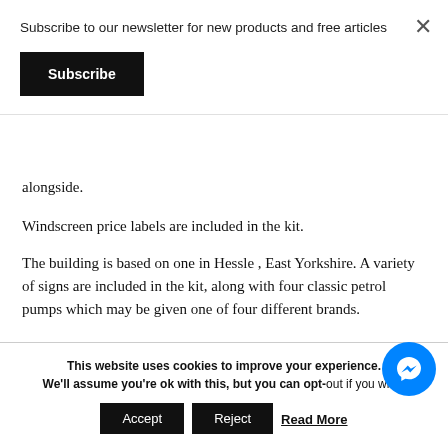Subscribe to our newsletter for new products and free articles
Subscribe
alongside.
Windscreen price labels are included in the kit.
The building is based on one in Hessle , East Yorkshire. A variety of signs are included in the kit, along with four classic petrol pumps which may be given one of four different brands.
This website uses cookies to improve your experience. We'll assume you're ok with this, but you can opt-out if you wish.
Accept
Reject
Read More